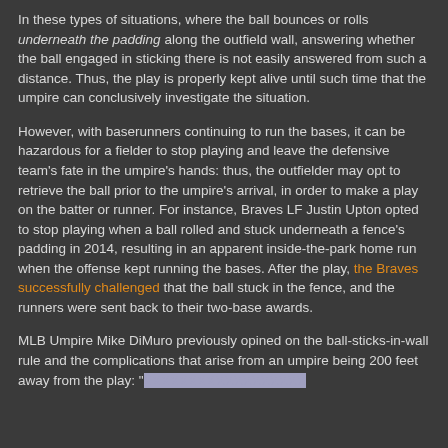In these types of situations, where the ball bounces or rolls underneath the padding along the outfield wall, answering whether the ball engaged in sticking there is not easily answered from such a distance. Thus, the play is properly kept alive until such time that the umpire can conclusively investigate the situation.
However, with baserunners continuing to run the bases, it can be hazardous for a fielder to stop playing and leave the defensive team's fate in the umpire's hands: thus, the outfielder may opt to retrieve the ball prior to the umpire's arrival, in order to make a play on the batter or runner. For instance, Braves LF Justin Upton opted to stop playing when a ball rolled and stuck underneath a fence's padding in 2014, resulting in an apparent inside-the-park home run when the offense kept running the bases. After the play, the Braves successfully challenged that the ball stuck in the fence, and the runners were sent back to their two-base awards.
MLB Umpire Mike DiMuro previously opined on the ball-sticks-in-wall rule and the complications that arise from an umpire being 200 feet away from the play: "